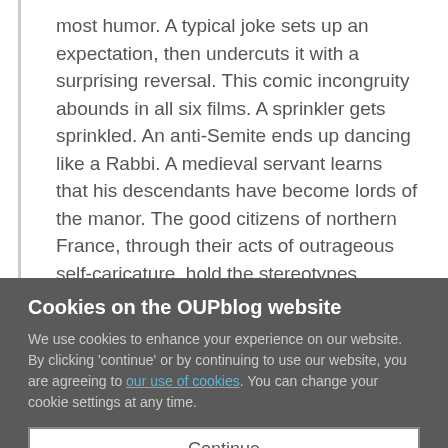most humor. A typical joke sets up an expectation, then undercuts it with a surprising reversal. This comic incongruity abounds in all six films. A sprinkler gets sprinkled. An anti-Semite ends up dancing like a Rabbi. A medieval servant learns that his descendants have become lords of the manor. The good citizens of northern France, through their acts of outrageous self-caricature, hold the stereotypes perpetuated by outsiders up to ridicule. It's a lesson we can learn from almost any comedy.
Cookies on the OUPblog website
We use cookies to enhance your experience on our website. By clicking 'continue' or by continuing to use our website, you are agreeing to our use of cookies. You can change your cookie settings at any time.
Continue